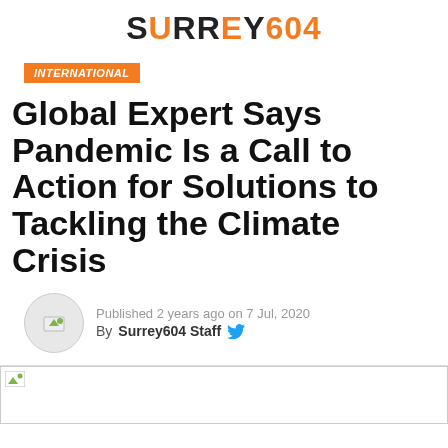SURREY604
INTERNATIONAL
Global Expert Says Pandemic Is a Call to Action for Solutions to Tackling the Climate Crisis
Published 2 years ago on 7 Jul, 2020
By Surrey604 Staff
[Figure (photo): Featured article image placeholder]